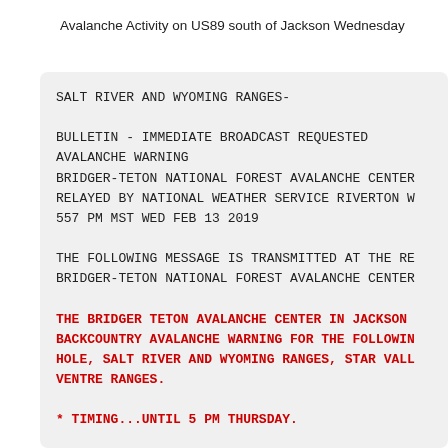Avalanche Activity on US89 south of Jackson Wednesday
SALT RIVER AND WYOMING RANGES-

BULLETIN - IMMEDIATE BROADCAST REQUESTED
AVALANCHE WARNING
BRIDGER-TETON NATIONAL FOREST AVALANCHE CENTER
RELAYED BY NATIONAL WEATHER SERVICE RIVERTON W
557 PM MST WED FEB 13 2019

THE FOLLOWING MESSAGE IS TRANSMITTED AT THE RE
BRIDGER-TETON NATIONAL FOREST AVALANCHE CENTER

THE BRIDGER TETON AVALANCHE CENTER IN JACKSON
BACKCOUNTRY AVALANCHE WARNING FOR THE FOLLOWIN
HOLE, SALT RIVER AND WYOMING RANGES, STAR VALL
VENTRE RANGES.

* TIMING...UNTIL 5 PM THURSDAY.

* AFFECTED AREA...JACKSON HOLE, THE TETON RANG
RANGE, SALT RIVER RANGE, WYOMING RANGE AND S